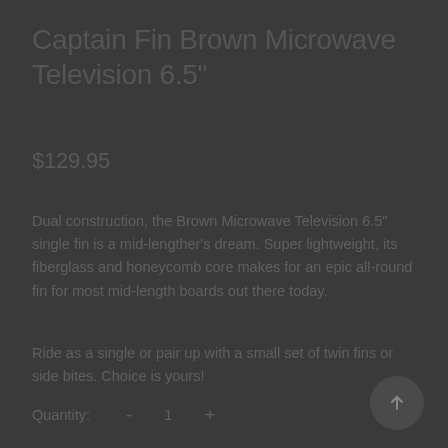Captain Fin Brown Microwave Television 6.5"
$129.95
Dual construction, the Brown Microwave Television 6.5" single fin is a mid-lengther's dream. Super lightweight, its fiberglass and honeycomb core makes for an epic all-round fin for most mid-length boards out there today.
Ride as a single or pair up with a small set of twin fins or side bites. Choice is yours!
Quantity:  -  1  +